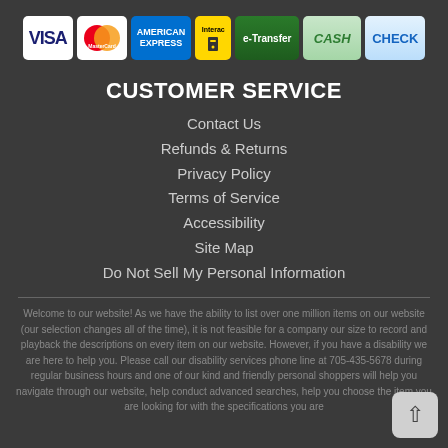[Figure (infographic): Row of payment method icons: VISA, MasterCard, American Express, Interac, e-Transfer, CASH, CHECK]
CUSTOMER SERVICE
Contact Us
Refunds & Returns
Privacy Policy
Terms of Service
Accessibility
Site Map
Do Not Sell My Personal Information
Welcome to our website! As we have the ability to list over one million items on our website (our selection changes all of the time), it is not feasible for a company our size to record and playback the descriptions on every item on our website. However, if you have a disability we are here to help you. Please call our disability services phone line at 705-435-5678 during regular business hours and one of our kind and friendly personal shoppers will help you navigate through our website, help conduct advanced searches, help you choose the item you are looking for with the specifications you are